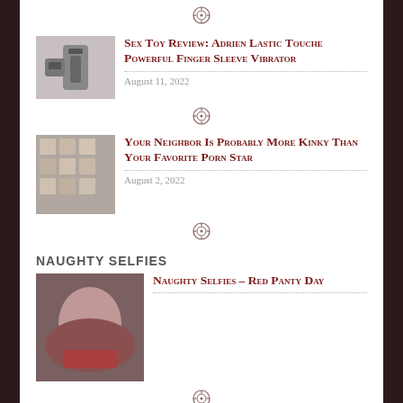[Figure (other): Decorative ornament/divider symbol]
[Figure (photo): Thumbnail image of a sex toy product]
Sex Toy Review: Adrien Lastic Touche Powerful Finger Sleeve Vibrator
August 11, 2022
[Figure (other): Decorative ornament/divider symbol]
[Figure (photo): Thumbnail image showing a store or shelf with adult products]
Your Neighbor Is Probably More Kinky Than Your Favorite Porn Star
August 2, 2022
[Figure (other): Decorative ornament/divider symbol]
NAUGHTY SELFIES
[Figure (photo): Thumbnail image for Naughty Selfies - Red Panty Day]
Naughty Selfies – Red Panty Day
[Figure (other): Decorative ornament/divider symbol]
[Figure (photo): Thumbnail image for Naughty Selfies - Green Day]
Naughty Selfies – Green Day